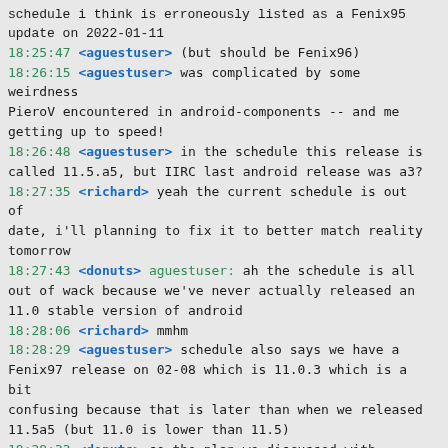schedule i think is erroneously listed as a Fenix95 update on 2022-01-11
18:25:47 <aguestuser> (but should be Fenix96)
18:26:15 <aguestuser> was complicated by some weirdness PieroV encountered in android-components -- and me getting up to speed!
18:26:48 <aguestuser> in the schedule this release is called 11.5.a5, but IIRC last android release was a3?
18:27:35 <richard> yeah the current schedule is out of date, i'll planning to fix it to better match reality tomorrow
18:27:43 <donuts> aguestuser: ah the schedule is all out of wack because we've never actually released an 11.0 stable version of android
18:28:06 <richard> mmhm
18:28:29 <aguestuser> schedule also says we have a Fenix97 release on 02-08 which is 11.0.3 which is a bit confusing because that is later than when we released 11.5a5 (but 11.0 is lower than 11.5)
18:28:33 <donuts> so the plan we discussed with sysrqb before the break was to get one or two new alphas for android out, and then release to stable before we jump onto fenix 96
18:28:55 <aguestuser> hmm.
18:29:00 <donuts> aguestuser: I think you can fully ignore the schedule tbh
18:29:03 <donuts> sorry for the confusion
18:29:04 <aguestuser> lol ok
18:29:08 <donuts> (richard feel free to correct me here)